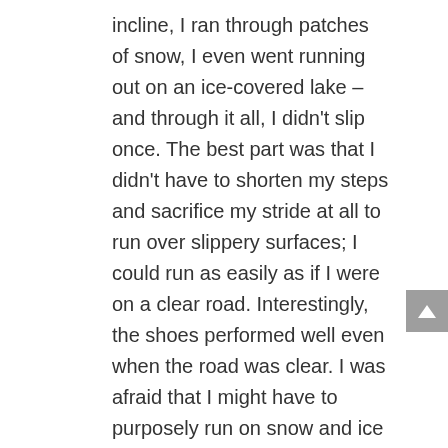incline, I ran through patches of snow, I even went running out on an ice-covered lake – and through it all, I didn't slip once. The best part was that I didn't have to shorten my steps and sacrifice my stride at all to run over slippery surfaces; I could run as easily as if I were on a clear road. Interestingly, the shoes performed well even when the road was clear. I was afraid that I might have to purposely run on snow and ice with these shoes so as not to damage the BUGrip spikes. However, the technology does exactly what it claims. When my foot applies pressure over a surface with greater resistance, such as hard pavement, the spikes retract back into the sole. After running in the shoes for about a month over ice, snow, and pavement, the spikes look the same as they did when I first took the Icebugs out of the box, so the BUGrip technology seems to be a success. The shoes also kept my feet warm and dry – the BIGdri technology absorbs moisture from the foot, and the thick outsole keeps my feet comfortably warm. After